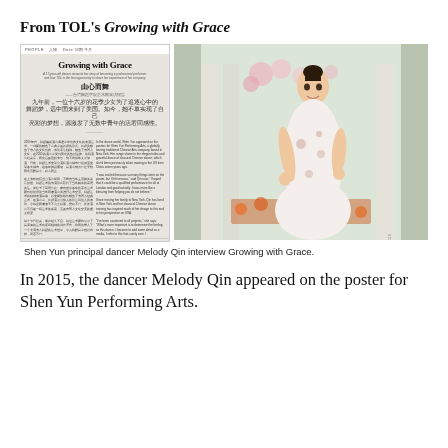From TOL's Growing with Grace
[Figure (photo): Magazine spread showing 'Growing with Grace' article with Chinese text and a photo of dancer Melody Qin in a white floral dress standing outdoors]
Shen Yun principal dancer Melody Qin interview Growing with Grace.
In 2015, the dancer Melody Qin appeared on the poster for Shen Yun Performing Arts.